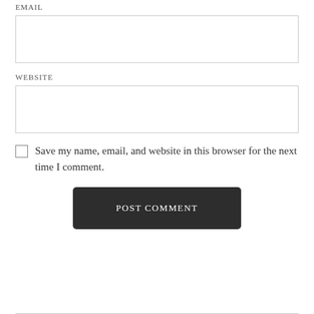EMAIL
WEBSITE
Save my name, email, and website in this browser for the next time I comment.
POST COMMENT